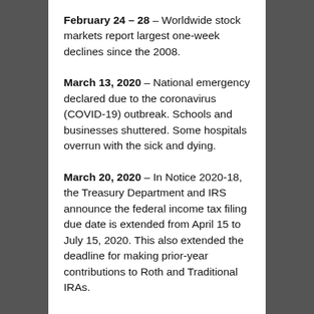February 24 – 28 – Worldwide stock markets report largest one-week declines since the 2008.
March 13, 2020 – National emergency declared due to the coronavirus (COVID-19) outbreak. Schools and businesses shuttered. Some hospitals overrun with the sick and dying.
March 20, 2020 – In Notice 2020-18, the Treasury Department and IRS announce the federal income tax filing due date is extended from April 15 to July 15, 2020. This also extended the deadline for making prior-year contributions to Roth and Traditional IRAs.